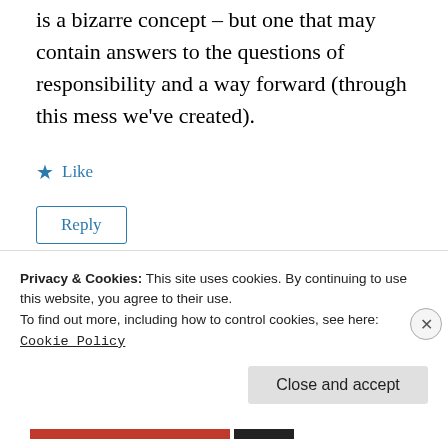is a bizarre concept – but one that may contain answers to the questions of responsibility and a way forward (through this mess we've created).
★ Like
Reply
Shakti Ghosal
Privacy & Cookies: This site uses cookies. By continuing to use this website, you agree to their use.
To find out more, including how to control cookies, see here:
Cookie Policy
Close and accept